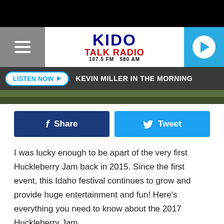[Figure (screenshot): KIDO Talk Radio website screenshot showing header with logo, listen now bar, social share buttons, and article text about Huckleberry Jam festival]
I was lucky enough to be apart of the very first Huckleberry Jam back in 2015. Since the first event, this Idaho festival continues to grow and provide huge entertainment and fun! Here's everything you need to know about the 2017 Huckleberry Jam.
Get your tickets now for the Festival and camping. The